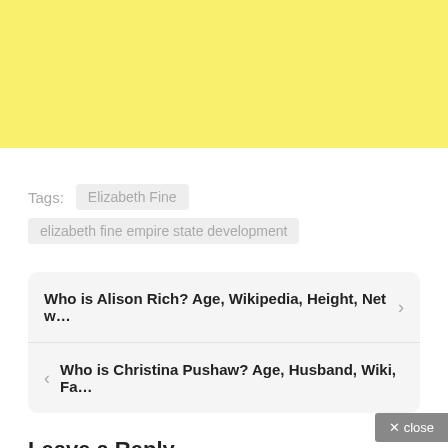[Figure (other): Yellow banner advertisement area at top of page]
Tags:  Elizabeth Fine  elizabeth fine empire state development
Who is Alison Rich? Age, Wikipedia, Height, Net w…
Who is Christina Pushaw? Age, Husband, Wiki, Fa…
Leave a Reply